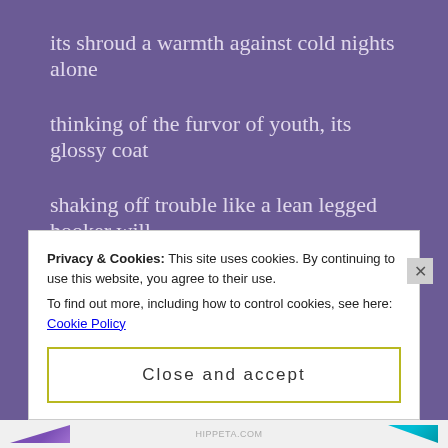its shroud a warmth against cold nights alone
thinking of the furvor of youth, its glossy coat
shaking off trouble like a lean legged hooker will
stand straight backed even in snow. Our tempest
for life, an appetite, whetting, scuttling blatently
Privacy & Cookies: This site uses cookies. By continuing to use this website, you agree to their use. To find out more, including how to control cookies, see here: Cookie Policy
Close and accept